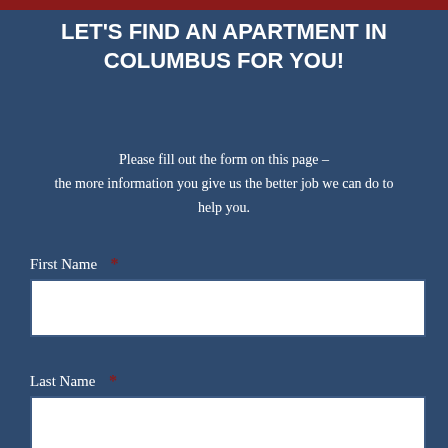[Figure (other): Red/dark bar at top of page, partial logo or header image]
LET'S FIND AN APARTMENT IN COLUMBUS FOR YOU!
Please fill out the form on this page – the more information you give us the better job we can do to help you.
First Name *
Last Name *